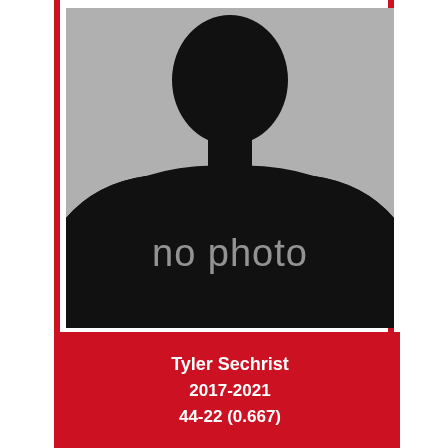[Figure (photo): Placeholder 'no photo' image showing a dark silhouette of a person against a gray background, with 'no photo' text overlaid in white on the dark shirt area.]
Tyler Sechrist
2017-2021
44-22 (0.667)